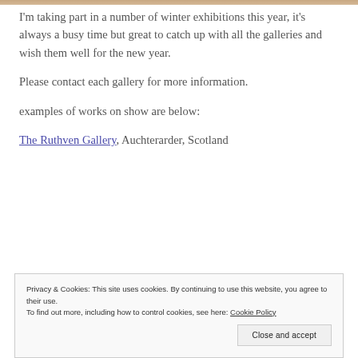[Figure (photo): Partial top edge of a photograph visible at the top of the page]
I'm taking part in a number of winter exhibitions this year, it's always a busy time but great to catch up with all the galleries and wish them well for the new year.
Please contact each gallery for more information.
examples of works on show are below:
The Ruthven Gallery, Auchterarder, Scotland
[Figure (photo): Partial view of a light blue/white artwork or painting, partially obscured by cookie banner]
Privacy & Cookies: This site uses cookies. By continuing to use this website, you agree to their use. To find out more, including how to control cookies, see here: Cookie Policy
Close and accept